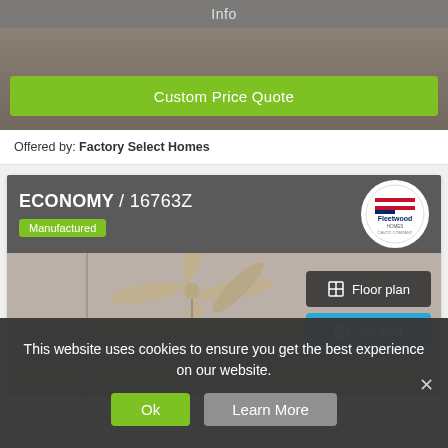Info
Custom Price Quote
Offered by: Factory Select Homes
ECONOMY / 16763Z
Manufactured
[Figure (screenshot): Interior room photo with ceiling fan, with Floor plan and 3D Tour buttons overlaid]
This website uses cookies to ensure you get the best experience on our website.
Ok
Learn More